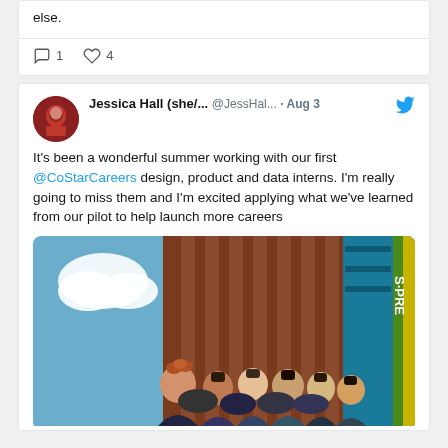else.
1   4
Jessica Hall (she/... @JessHal... · Aug 3
It's been a wonderful summer working with our first @CoStarCareers design, product and data interns. I'm really going to miss them and I'm excited applying what we've learned from our pilot to help launch more careers
[Figure (photo): Group photo of interns standing in front of a building with blue sky in background]
RECENT POSTS